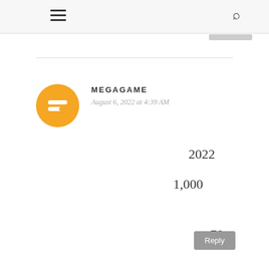≡  🔍
MEGAGAME
August 6, 2022 at 4:39 AM
2022
1,000
78
Reply